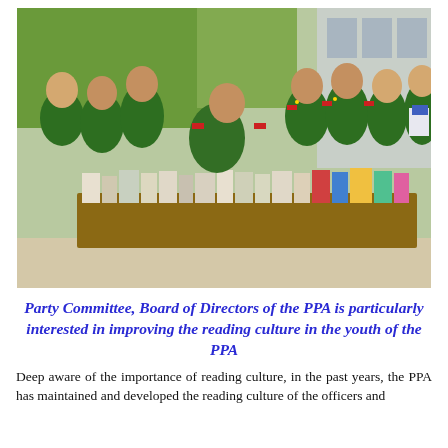[Figure (photo): Group of Vietnamese police/military officers in green uniforms browsing books laid out on long tables outdoors, including a senior officer leaning over the table examining books.]
Party Committee, Board of Directors of the PPA is particularly interested in improving the reading culture in the youth of the PPA
Deep aware of the importance of reading culture, in the past years, the PPA has maintained and developed the reading culture of the officers and